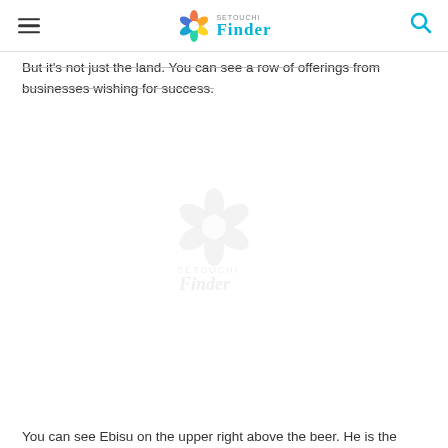Setouchi Finder
But it's not just the land. You can see a row of offerings from businesses wishing for success.
[Figure (logo): Setouchi Finder watermark logo — camera shutter icon above stylized 'Finder' text, faint gray, centered on page]
You can see Ebisu on the upper right above the beer. He is the